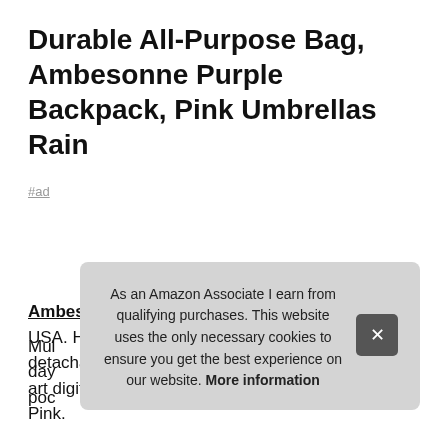Durable All-Purpose Bag, Ambesonne Purple Backpack, Pink Umbrellas Rain
#ad
Ambesonne #ad - Proudly designed & printed in the USA. Has shoulder straps and carry handle & detachable printing panel. Printed - with state of the art digital printing technology. Color in print: Lilac Pink.
As an Amazon Associate I earn from qualifying purchases. This website uses the only necessary cookies to ensure you get the best experience on our website. More information
Mul... day... poc...